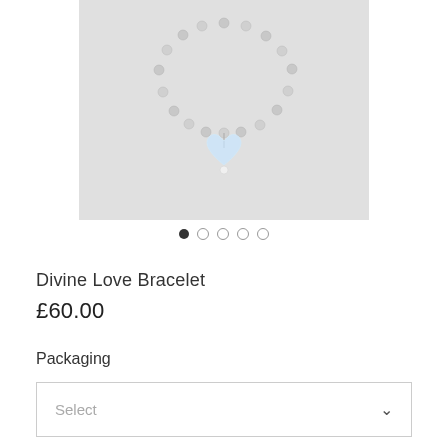[Figure (photo): A silver beaded bracelet with a crystal heart charm pendant, displayed on a light gray background. The bracelet is circular with small silver beads and a clear crystal heart hanging from the center.]
Divine Love Bracelet
£60.00
Packaging
Select